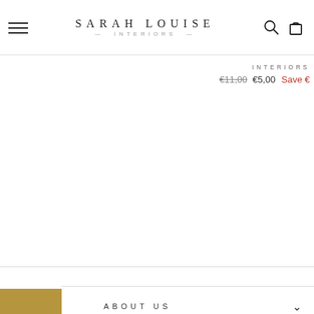SARAH LOUISE INTERIORS
INTERIORS €11,00 €5,00 Save €
★ REVIEWS
ABOUT US
SHOP
ABOUT
LEGAL
SIGN UP AND SAVE